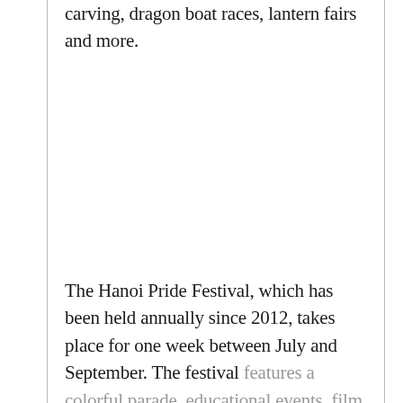carving, dragon boat races, lantern fairs and more.
The Hanoi Pride Festival, which has been held annually since 2012, takes place for one week between July and September. The festival features a colorful parade, educational events, film screenings, parties, a bicycle rally,